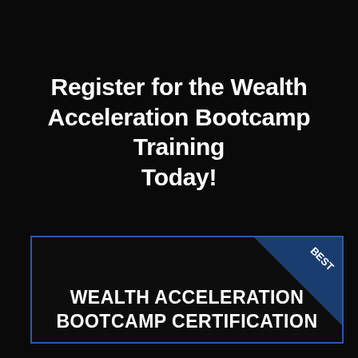Register for the Wealth Acceleration Bootcamp Training Today!
[Figure (illustration): Dark card with blue border containing 'WEALTH ACCELERATION BOOTCAMP CERTIFICATION' text and a 'BEST' ribbon badge in the top-right corner]